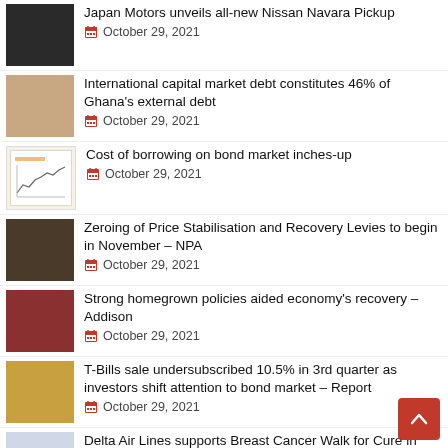Japan Motors unveils all-new Nissan Navara Pickup — October 29, 2021
International capital market debt constitutes 46% of Ghana's external debt — October 29, 2021
Cost of borrowing on bond market inches-up — October 29, 2021
Zeroing of Price Stabilisation and Recovery Levies to begin in November – NPA — October 29, 2021
Strong homegrown policies aided economy's recovery – Addison — October 29, 2021
T-Bills sale undersubscribed 10.5% in 3rd quarter as investors shift attention to bond market – Report — October 29, 2021
Delta Air Lines supports Breast Cancer Walk for Cure in Cape Coast — November 07, 2019